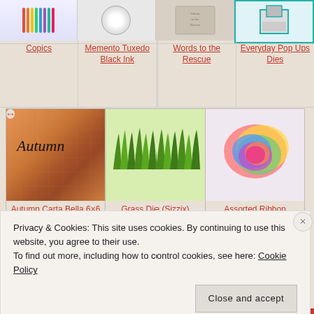[Figure (photo): Product grid row with Copics markers, Memento Tuxedo Black Ink, Words to the Rescue, and Everyday Pop Ups Dies]
Copics
Memento Tuxedo Black Ink
Words to the Rescue
Everyday Pop Ups Dies
[Figure (photo): Three product images: Autumn Carta Bella 6x6 Paper pad, Grass Die Sizzix, Assorted Ribbon]
Autumn Carta Bella 6×6 Paper
Grass Die (Sizzix)
Assorted Ribbon
Privacy & Cookies: This site uses cookies. By continuing to use this website, you agree to their use.
To find out more, including how to control cookies, see here: Cookie Policy
Close and accept